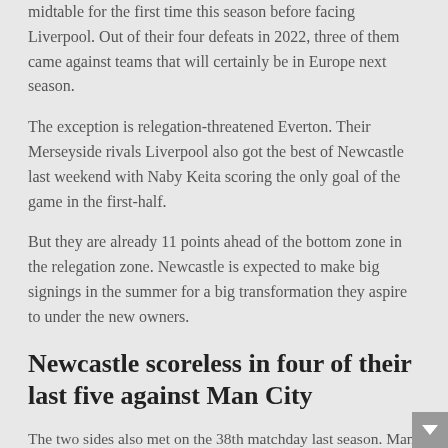midtable for the first time this season before facing Liverpool. Out of their four defeats in 2022, three of them came against teams that will certainly be in Europe next season.
The exception is relegation-threatened Everton. Their Merseyside rivals Liverpool also got the best of Newcastle last weekend with Naby Keita scoring the only goal of the game in the first-half.
But they are already 11 points ahead of the bottom zone in the relegation zone. Newcastle is expected to make big signings in the summer for a big transformation they aspire to under the new owners.
Newcastle scoreless in four of their last five against Man City
The two sides also met on the 38th matchday last season. Man City won that fixture 4-3, but Newcastle failed to score in all the other four fixtures since 2020. Back in December, Man City secured a comfortable 4-0 win with four different names on the scoresheet for Pep's side.